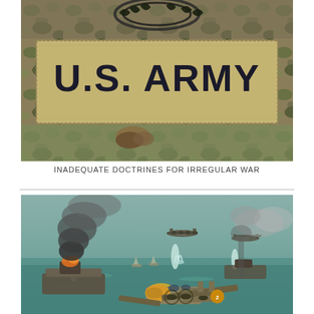[Figure (photo): Close-up photograph of a U.S. Army uniform patch on camouflage fabric. The patch reads 'U.S. ARMY' in dark embroidered letters on a tan background. Above it is visible a military insignia with what appears to be a wreath design.]
INADEQUATE DOCTRINES FOR IRREGULAR WAR
[Figure (illustration): Military artwork/painting depicting an aerial and naval battle scene. Low-flying WWII-era bombers (appearing to be B-24 Liberators or similar aircraft) are attacking ships at sea. Several vessels are on fire and smoking. The scene shows a naval bombardment with water splashes from bombs, smoke clouds, and multiple aircraft in formation over a harbor or sea lane.]